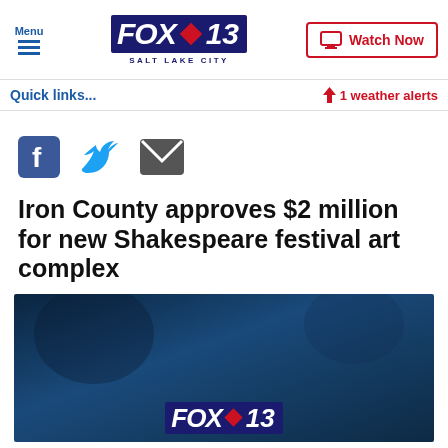FOX 13 SALT LAKE CITY
Quick links...
⚡ 1 weather alerts
[Figure (other): Social share icons: Facebook, Twitter, Email]
Iron County approves $2 million for new Shakespeare festival art complex
[Figure (photo): Dark blue photo with FOX 13 logo overlay at bottom]